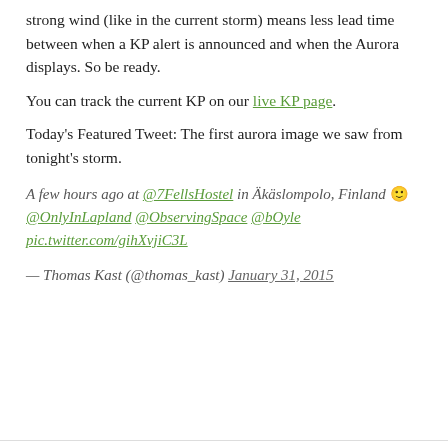strong wind (like in the current storm) means less lead time between when a KP alert is announced and when the Aurora displays. So be ready.
You can track the current KP on our live KP page.
Today's Featured Tweet: The first aurora image we saw from tonight's storm.
A few hours ago at @7FellsHostel in Äkäslompolo, Finland 🙂 @OnlyInLapland @ObservingSpace @bOyle pic.twitter.com/gihXvjiC3L
— Thomas Kast (@thomas_kast) January 31, 2015